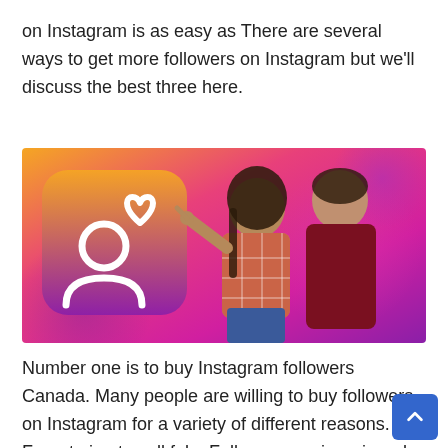on Instagram is as easy as There are several ways to get more followers on Instagram but we'll discuss the best three here.
[Figure (photo): Colorful gradient background (orange, pink, purple) with an Instagram-style follower/like app icon on the left and two young people pointing at it on the right.]
Number one is to buy Instagram followers Canada. Many people are willing to buy followers on Instagram for a variety of different reasons. From trying to sell fake Followers or views in order to make more money, to trying to